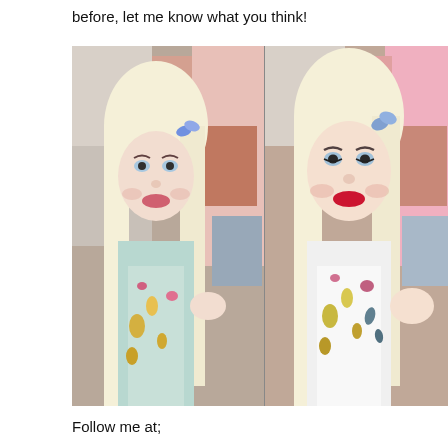before, let me know what you think!
[Figure (photo): Two side-by-side selfie photos of a young blonde woman in a floral top, with butterfly hair clip. Left photo shows her with lighter pink-red lipstick; right photo shows her with bright red lipstick. Both taken in a room with pink decor.]
Follow me at;